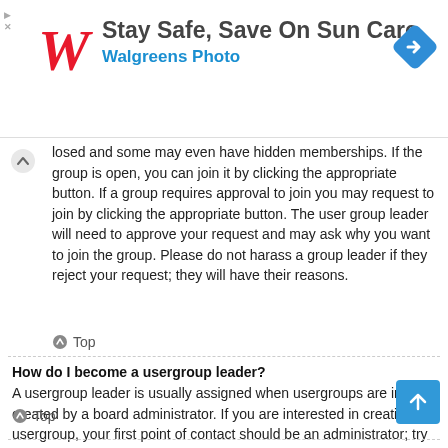[Figure (screenshot): Walgreens advertisement banner: Stay Safe, Save On Sun Care - Walgreens Photo, with Walgreens cursive W logo in red and blue navigation/direction diamond icon]
losed and some may even have hidden memberships. If the group is open, you can join it by clicking the appropriate button. If a group requires approval to join you may request to join by clicking the appropriate button. The user group leader will need to approve your request and may ask why you want to join the group. Please do not harass a group leader if they reject your request; they will have their reasons.
Top
How do I become a usergroup leader?
A usergroup leader is usually assigned when usergroups are initially created by a board administrator. If you are interested in creating a usergroup, your first point of contact should be an administrator; try sending a private message.
Top